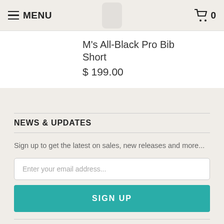MENU | 0
M's All-Black Pro Bib
Short
$ 199.00
NEWS & UPDATES
Sign up to get the latest on sales, new releases and more...
Enter your email address...
SIGN UP
ABOUT